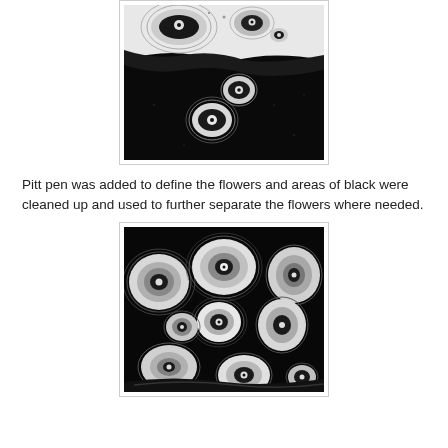[Figure (illustration): Black and white artwork showing flower/circular forms against a dark background, with white swirling shapes on black, partial view at top of page]
Pitt pen was added to define the flowers and areas of black were cleaned up and used to further separate the flowers where needed.
[Figure (illustration): Black and white artwork showing multiple large flower/rose forms densely arranged, with white petals defined by dark outlines against a black background]